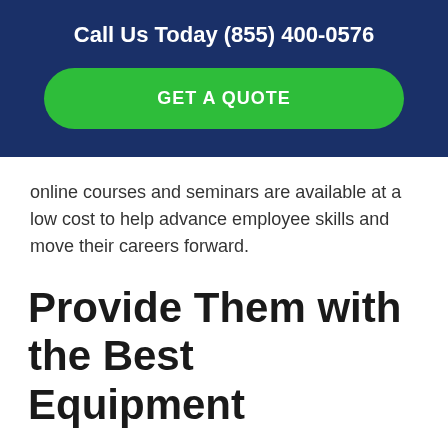Call Us Today (855) 400-0576
[Figure (other): Green rounded button with text GET A QUOTE on dark blue background]
online courses and seminars are available at a low cost to help advance employee skills and move their careers forward.
Provide Them with the Best Equipment